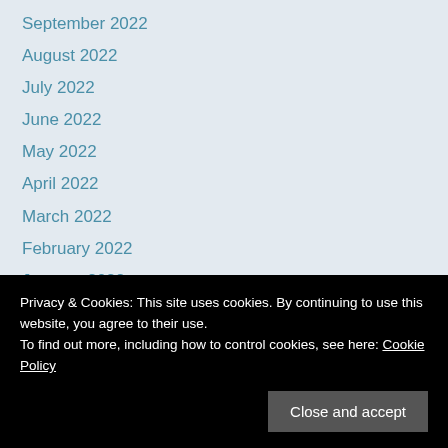September 2022
August 2022
July 2022
June 2022
May 2022
April 2022
March 2022
February 2022
January 2022
December 2021
November 2021
October 2021
September 2021
August 2021
Privacy & Cookies: This site uses cookies. By continuing to use this website, you agree to their use.
To find out more, including how to control cookies, see here: Cookie Policy
February 2021